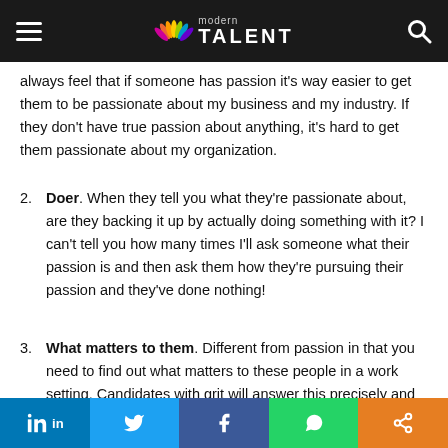Modern Talent
always feel that if someone has passion it's way easier to get them to be passionate about my business and my industry. If they don't have true passion about anything, it's hard to get them passionate about my organization.
2. Doer. When they tell you what they're passionate about, are they backing it up by actually doing something with it? I can't tell you how many times I'll ask someone what their passion is and then ask them how they're pursuing their passion and they've done nothing!
3. What matters to them. Different from passion in that you need to find out what matters to these people in a work setting. Candidates with grit will answer this precisely and quickly. Others will search for an answer and feel you out for
LinkedIn Twitter Facebook WhatsApp Share